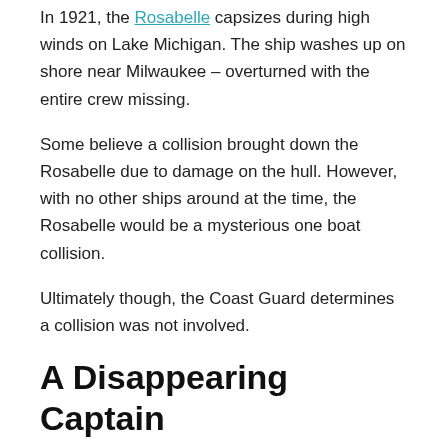In 1921, the Rosabelle capsizes during high winds on Lake Michigan. The ship washes up on shore near Milwaukee – overturned with the entire crew missing.
Some believe a collision brought down the Rosabelle due to damage on the hull. However, with no other ships around at the time, the Rosabelle would be a mysterious one boat collision.
Ultimately though, the Coast Guard determines a collision was not involved.
A Disappearing Captain
A new twist occurs in 1937, with a disappearing ship captain.
While on route to Port Washington, Wisconsin, Captain George R. Donner of the O.M. McFarland retires to his private cabin. When the crew goes to check on the captain, there is no response. Since the door is locked from the inside, the crew breaks down the door